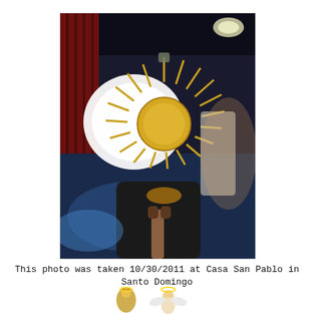[Figure (photo): A photograph of a religious figure or person in dark robes holding an ornate monstrance or sunburst reliquary. The monstrance has golden rays radiating outward and a circular center. The background shows red curtains and stage lighting. The photo appears to be taken at an indoor event venue.]
This photo was taken 10/30/2011 at Casa San Pablo in Santo Domingo
[Figure (illustration): Small decorative icons or clipart illustrations at the bottom of the page, appearing to show a small angel or cherub figure and another small character.]